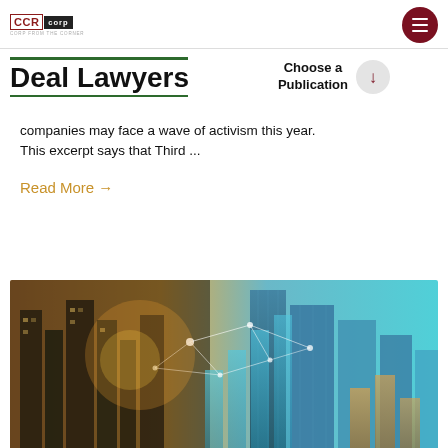CCR corp
Deal Lawyers
Choose a Publication
companies may face a wave of activism this year. This excerpt says that Third ...
Read More →
[Figure (photo): City skyline with glass buildings, overlaid with glowing network connection lines and financial bar chart graphics, warm golden and teal tones]